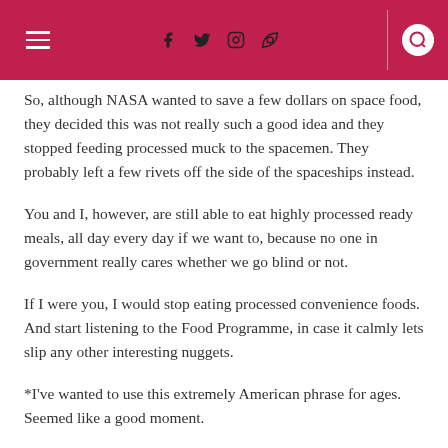[Navigation header with hamburger menu, social icons (f, twitter, instagram, pinterest), divider, and search icon]
So, although NASA wanted to save a few dollars on space food, they decided this was not really such a good idea and they stopped feeding processed muck to the spacemen. They probably left a few rivets off the side of the spaceships instead.
You and I, however, are still able to eat highly processed ready meals, all day every day if we want to, because no one in government really cares whether we go blind or not.
If I were you, I would stop eating processed convenience foods. And start listening to the Food Programme, in case it calmly lets slip any other interesting nuggets.
*I've wanted to use this extremely American phrase for ages. Seemed like a good moment.